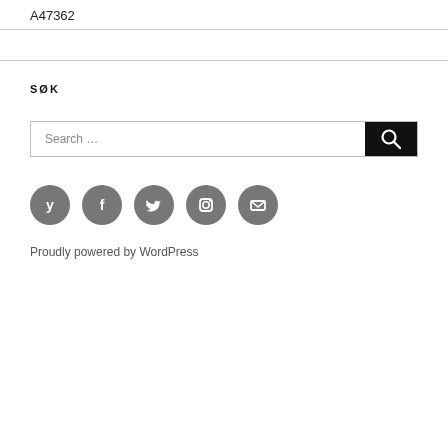A47362
SØK
Search ...
[Figure (other): Social media icons row: Yelp, Facebook, Twitter, Instagram, Email — grey circles with white icons]
Proudly powered by WordPress